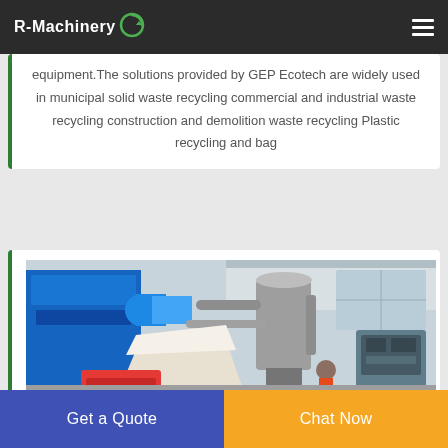R-Machinery
equipment.The solutions provided by GEP Ecotech are widely used in municipal solid waste recycling commercial and industrial waste recycling construction and demolition waste recycling Plastic recycling and bag
[Figure (photo): Industrial recycling machinery equipment inside a factory — blue shredder machine with red hopper, silver pipes and silos, control panel on right]
Get a Quote
Chat Now